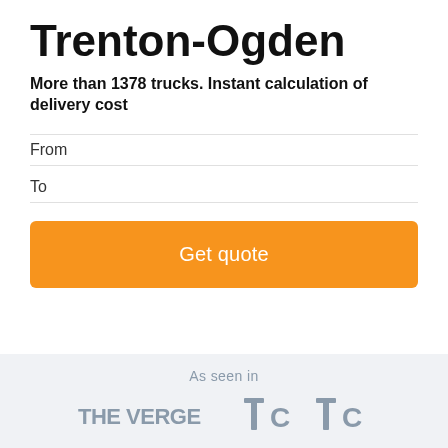Trenton-Ogden
More than 1378 trucks. Instant calculation of delivery cost
From
To
Get quote
As seen in
[Figure (logo): Three media logos shown in gray: THE VERGE, and two TechCrunch (TC) logos]
How it works